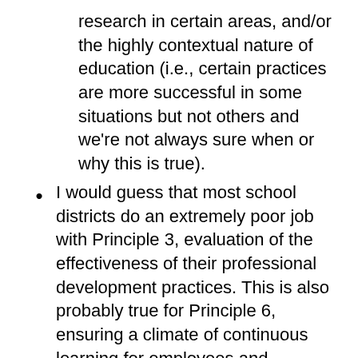research in certain areas, and/or the highly contextual nature of education (i.e., certain practices are more successful in some situations but not others and we're not always sure when or why this is true).
I would guess that most school districts do an extremely poor job with Principle 3, evaluation of the effectiveness of their professional development practices. This is also probably true for Principle 6, ensuring a climate of continuous learning for employees and students.
Principle 5, equitable and